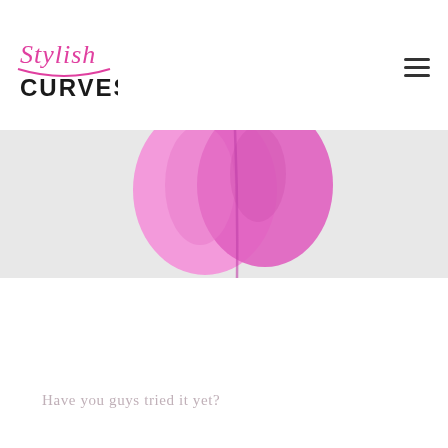Stylish Curves
[Figure (photo): Partial view of pink shapewear or compression garment panels against a light gray/white background, showing two overlapping pink fabric pieces.]
Have you guys tried it yet?